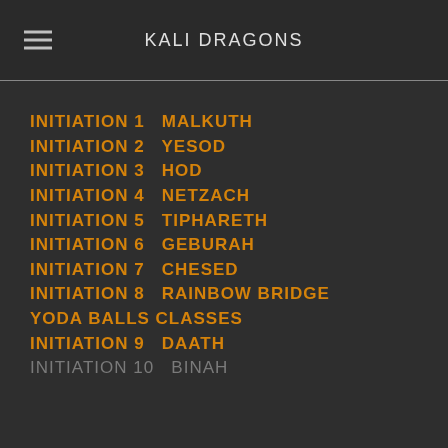KALI DRAGONS
INITIATION 1  MALKUTH
INITIATION 2  YESOD
INITIATION 3  HOD
INITIATION 4  NETZACH
INITIATION 5  TIPHARETH
INITIATION 6  GEBURAH
INITIATION 7  CHESED
INITIATION 8  RAINBOW BRIDGE
YODA BALLS CLASSES
INITIATION 9  DAATH
INITIATION 10  BINAH